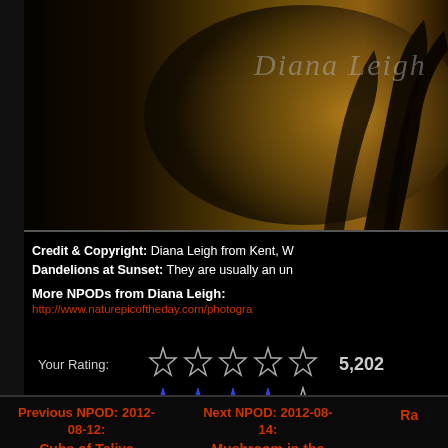[Figure (photo): Dark nature photograph with golden/amber tones showing backlit dandelions or similar plants at sunset, with the text 'Diana Leigh' watermarked in the upper right area]
Credit & Copyright: Diana Leigh from Kent, W
Dandelions at Sunset: They are usually an un
More NPODs from Diana Leigh:
http://www.naturepicoftheday.com/photogra
Your Rating: ★★★★★ 5,202
Avg. Rating: ★★★★★
Previous NPOD: 2012-08-12:
Cubs of Teliya
Next NPOD: 2012-08-14:
Mushroom in the Morning
[Figure (photo): Thumbnail of Cubs of Teliya - appears to show cubs in green foliage]
[Figure (photo): Thumbnail of Mushroom in the Morning]